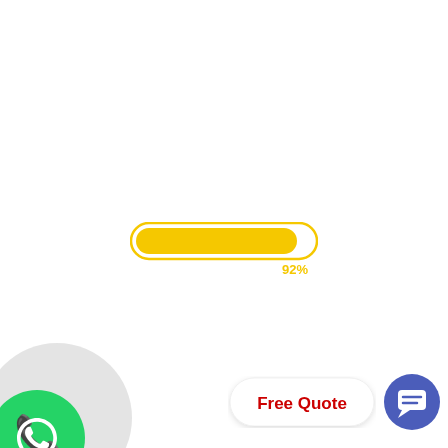[Figure (other): A yellow progress bar at 92% completion with a yellow rounded rectangle border, yellow fill bar inside, and '92%' label in yellow text below the bar to the right]
[Figure (other): WhatsApp green circular icon button in the bottom-left corner with a partially visible grey circle behind it]
[Figure (other): A white rounded pill button with red text 'Free Quote' and a blue circular chat icon button with white speech bubble icon, both in the bottom-right area]